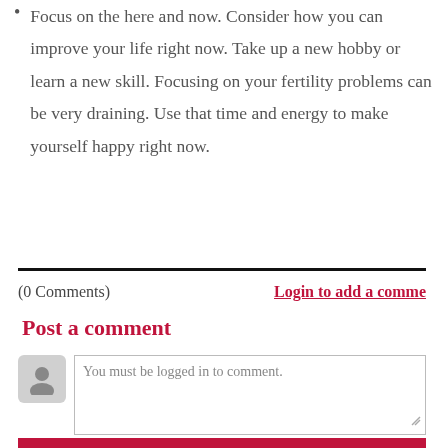Focus on the here and now. Consider how you can improve your life right now. Take up a new hobby or learn a new skill. Focusing on your fertility problems can be very draining. Use that time and energy to make yourself happy right now.
(0 Comments)
Login to add a comme
Post a comment
You must be logged in to comment.